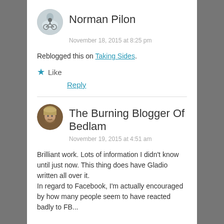Norman Pilon
November 18, 2015 at 8:25 pm
Reblogged this on Taking Sides.
Like
Reply
The Burning Blogger Of Bedlam
November 19, 2015 at 4:51 am
Brilliant work. Lots of information I didn't know until just now. This thing does have Gladio written all over it.
In regard to Facebook, I'm actually encouraged by how many people seem to have reacted badly to FB...